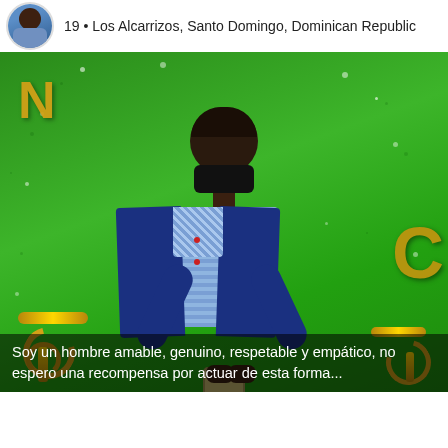19 • Los Alcarrizos, Santo Domingo, Dominican Republic
[Figure (photo): Young man wearing a black face mask and blue blazer over a blue checkered shirt, sitting on a gold ornate chair looking at his phone. Background is artificial green grass wall with gold decorative letters N and C. White confetti scattered in background.]
Soy un hombre amable, genuino, respetable y empático, no espero una recompensa por actuar de esta forma...